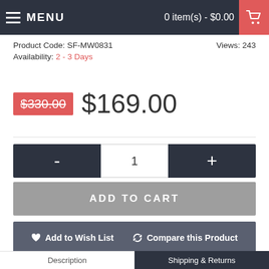MENU | 0 item(s) - $0.00
Product Code: SF-MW0831   Views: 243
Availability: 2 - 3 Days
$330.00  $169.00
- 1 +
ADD TO CART
♥ Add to Wish List   ↻ Compare this Product
Tweet 0   Share 0   Google + 0
Instagram Badge 0
Description   Shipping & Returns